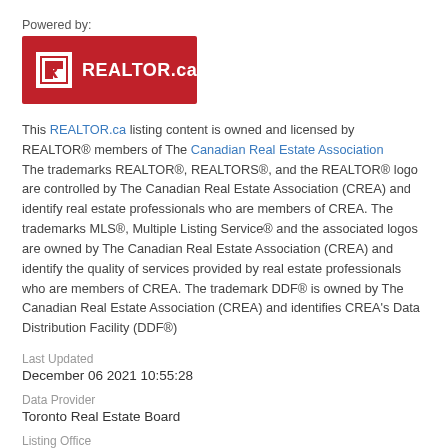Powered by:
[Figure (logo): REALTOR.ca logo — red rectangle with white R icon and white text REALTOR.ca]
This REALTOR.ca listing content is owned and licensed by REALTOR® members of The Canadian Real Estate Association
The trademarks REALTOR®, REALTORS®, and the REALTOR® logo are controlled by The Canadian Real Estate Association (CREA) and identify real estate professionals who are members of CREA. The trademarks MLS®, Multiple Listing Service® and the associated logos are owned by The Canadian Real Estate Association (CREA) and identify the quality of services provided by real estate professionals who are members of CREA. The trademark DDF® is owned by The Canadian Real Estate Association (CREA) and identifies CREA's Data Distribution Facility (DDF®)
Last Updated
December 06 2021 10:55:28
Data Provider
Toronto Real Estate Board
Listing Office
Royal LePage Your Community Realty
RealtyPress WordPress CREA DDF® Plugin